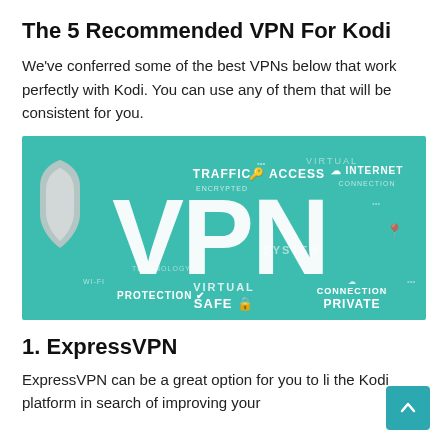The 5 Recommended VPN For Kodi
We've conferred some of the best VPNs below that work perfectly with Kodi. You can use any of them that will be consistent for you.
[Figure (infographic): VPN infographic on teal/green background with large white 'VPN' text, shield icon, and various VPN-related keywords: TRAFFIC, ENCRYPTED, ACCESS, VIRTUAL, INTERNET, CONNECTION, PROTECTION, SAFE, PRIVATE, SYSTEM, TECHNOLOGY, WI-FI]
1. ExpressVPN
ExpressVPN can be a great option for you to li the Kodi platform in search of improving your